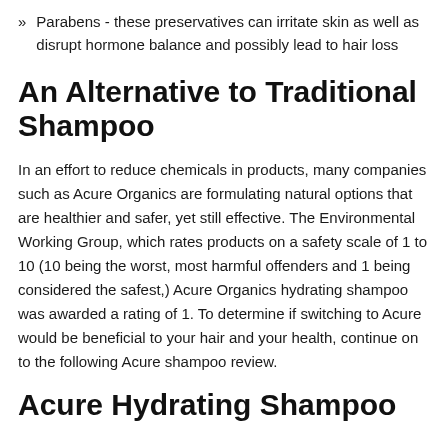Parabens - these preservatives can irritate skin as well as disrupt hormone balance and possibly lead to hair loss
An Alternative to Traditional Shampoo
In an effort to reduce chemicals in products, many companies such as Acure Organics are formulating natural options that are healthier and safer, yet still effective. The Environmental Working Group, which rates products on a safety scale of 1 to 10 (10 being the worst, most harmful offenders and 1 being considered the safest,) Acure Organics hydrating shampoo was awarded a rating of 1. To determine if switching to Acure would be beneficial to your hair and your health, continue on to the following Acure shampoo review.
Acure Hydrating Shampoo